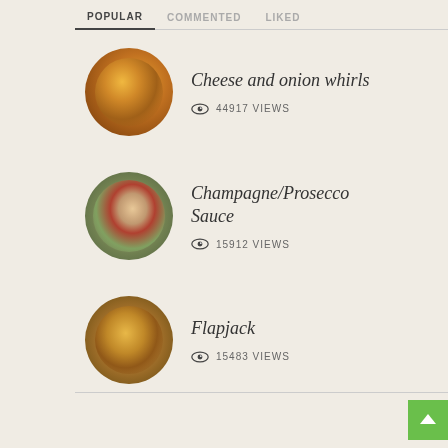POPULAR | COMMENTED | LIKED
[Figure (photo): Circular thumbnail of cheese and onion whirls, showing golden-brown breadcrumb topping]
Cheese and onion whirls
44917 VIEWS
[Figure (photo): Circular thumbnail of Champagne/Prosecco Sauce with fish on noodles and broccoli]
Champagne/Prosecco Sauce
15912 VIEWS
[Figure (photo): Circular thumbnail of flapjack, showing golden oat bars with dense texture]
Flapjack
15483 VIEWS